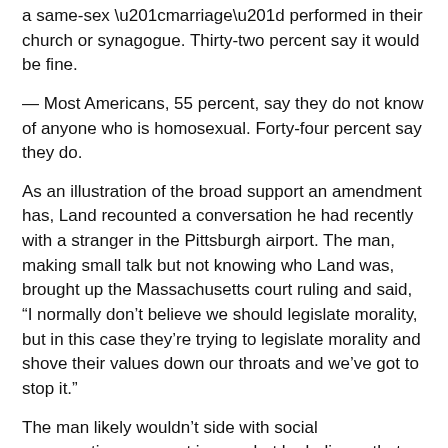a same-sex “marriage” performed in their church or synagogue. Thirty-two percent say it would be fine.
— Most Americans, 55 percent, say they do not know of anyone who is homosexual. Forty-four percent say they do.
As an illustration of the broad support an amendment has, Land recounted a conversation he had recently with a stranger in the Pittsburgh airport. The man, making small talk but not knowing who Land was, brought up the Massachusetts court ruling and said, “I normally don’t believe we should legislate morality, but in this case they’re trying to legislate morality and shove their values down our throats and we’ve got to stop it.”
The man likely wouldn’t side with social conservatives on most issues, but he believes that something “basic and fundamental” is “at stake,” Land said.
“[Homosexual activists] feared a backlash,” Land said. “It’s happened.”